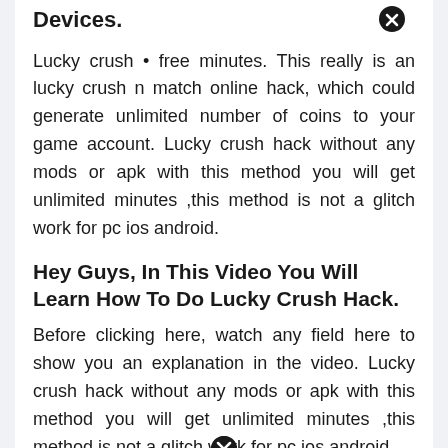Devices.
Lucky crush • free minutes. This really is an lucky crush n match online hack, which could generate unlimited number of coins to your game account. Lucky crush hack without any mods or apk with this method you will get unlimited minutes ,this method is not a glitch work for pc ios android.
Hey Guys, In This Video You Will Learn How To Do Lucky Crush Hack.
Before clicking here, watch any field here to show you an explanation in the video. Lucky crush hack without any mods or apk with this method you will get unlimited minutes ,this method is not a glitch work for pc ios android